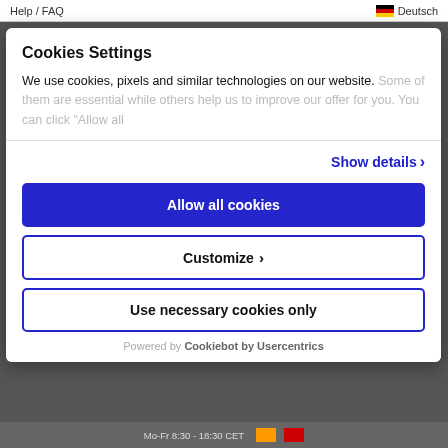Help / FAQ    Deutsch
Cookies Settings
We use cookies, pixels and similar technologies on our website. Some of them are essential while others help us to improve our offer for you. You can click "Allow all
Show details ›
Allow all cookies
Customize ›
Use necessary cookies only
Powered by Cookiebot by Usercentrics
Mo-Fr 8:30 - 18:30 CET